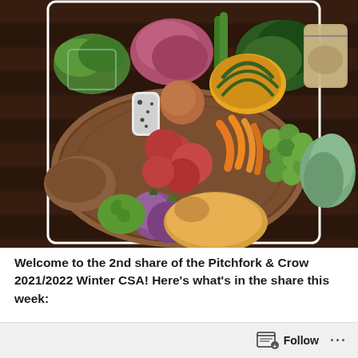[Figure (photo): Overhead view of a wicker basket filled with winter CSA vegetables on a dark wood surface, including red cabbage, squash, potatoes, carrots, brussels sprouts, sage, onions, butternut squash, kale, and a bag of dried items.]
Welcome to the 2nd share of the Pitchfork & Crow 2021/2022 Winter CSA! Here's what's in the share this week:
Follow ...